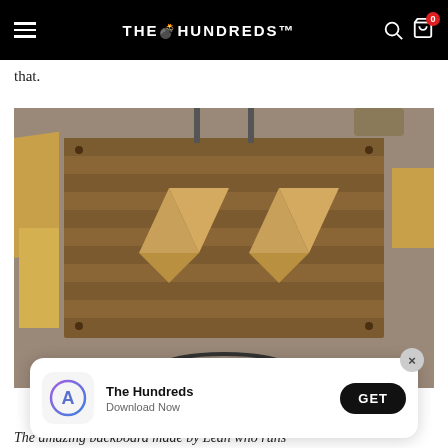THE HUNDREDS
that.
[Figure (photo): A wooden backboard with a diamond shape made from inlaid lighter wood planks, set in a workshop environment. Other wooden pieces are visible around it, and a basketball hoop rim is on the floor in front.]
[Figure (screenshot): App download banner: App Store icon on left, 'The Hundreds / Download Now' text in center, black 'GET' button on right, with an X close button.]
The amazing backboard made by Leah who runs